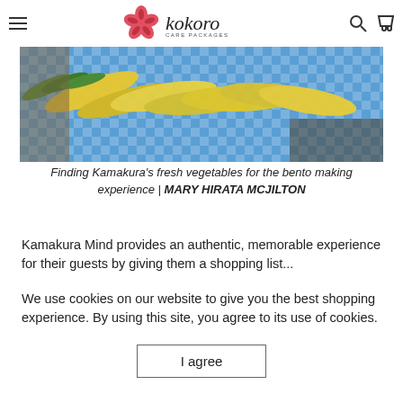Kokoro Care Packages — navigation header with hamburger menu, logo, search and cart icons
[Figure (photo): Yellow/golden carrots laid out on a blue checkered cloth surface]
Finding Kamakura's fresh vegetables for the bento making experience | MARY HIRATA MCJILTON
Kamakura Mind provides an authentic, memorable experience for their guests by giving them a shopping list...
We use cookies on our website to give you the best shopping experience. By using this site, you agree to its use of cookies.